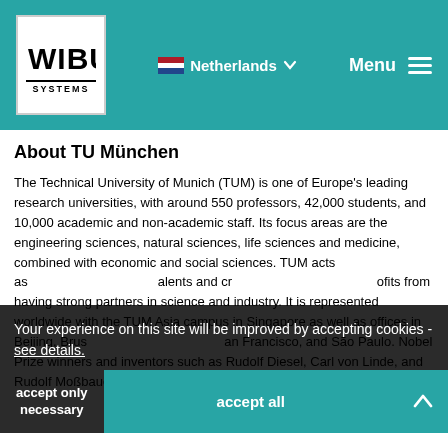WIBU SYSTEMS | Netherlands | Menu
About TU München
The Technical University of Munich (TUM) is one of Europe's leading research universities, with around 550 professors, 42,000 students, and 10,000 academic and non-academic staff. Its focus areas are the engineering sciences, natural sciences, life sciences and medicine, combined with economic and social sciences. TUM acts as an entrepreneurial university that attracts and creates value for society. Industry profits from having strong partners in science and industry. It is represented worldwide with the TUM Asia campus in Singapore as well as offices in Beijing, Brussels, Cairo, Mumbai, San Francisco, and São Paulo. Nobel Prize winners and inventors such as Rudolf Diesel, Carl von Linde, and Rudolf Moßbauer have done research at TUM. In 2006,
Your experience on this site will be improved by accepting cookies - see details.
accept only necessary
accept all